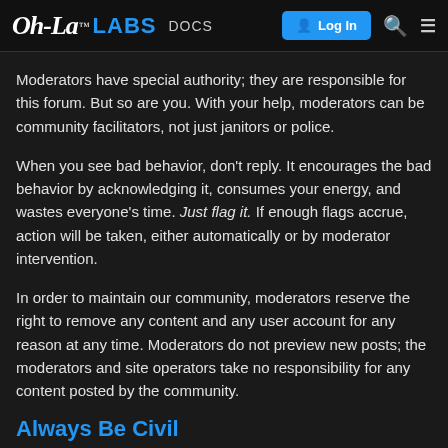Oh-La LABS DOCS Log In
Moderators have special authority; they are responsible for this forum. But so are you. With your help, moderators can be community facilitators, not just janitors or police.
When you see bad behavior, don't reply. It encourages the bad behavior by acknowledging it, consumes your energy, and wastes everyone's time. Just flag it. If enough flags accrue, action will be taken, either automatically or by moderator intervention.
In order to maintain our community, moderators reserve the right to remove any content and any user account for any reason at any time. Moderators do not preview new posts; the moderators and site operators take no responsibility for any content posted by the community.
Always Be Civil
Nothing sabotages a healthy conversation like rudeness: